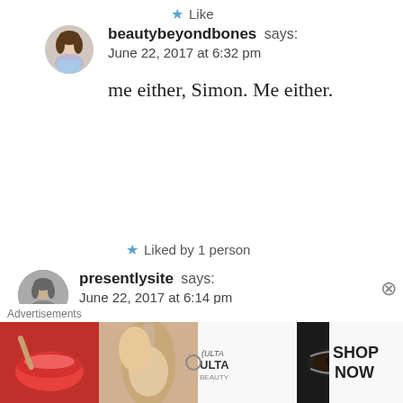Like
beautybeyondbones says:
June 22, 2017 at 6:32 pm
me either, Simon. Me either.
Liked by 1 person
presentlysite says:
June 22, 2017 at 6:14 pm
So powerful. I will remember you as a Christian resource should my daughters ever go through this. Way to speak up! I'm
[Figure (photo): Advertisement banner for ULTA beauty showing cosmetic imagery including lips, makeup brushes, eyes, and ULTA logo with SHOP NOW text]
Advertisements